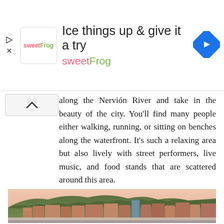[Figure (infographic): SweetFrog advertisement banner with logo, text 'Ice things up & give it a try', 'sweetFrog' subtitle, and a blue diamond navigation arrow icon. Play and close icons on the left edge.]
along the Nervión River and take in the beauty of the city. You'll find many people either walking, running, or sitting on benches along the waterfront. It's such a relaxing area but also lively with street performers, live music, and food stands that are scattered around this area.
[Figure (photo): Photograph of buildings along the Nervión River waterfront in Bilbao, with a hillside covered in trees in the background and a pinkish-orange sky.]